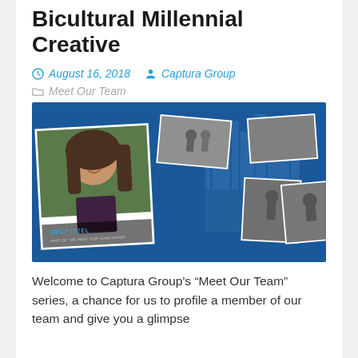Bicultural Millennial Creative
August 16, 2018   Captura Group
Meet Our Team
[Figure (photo): Composite image with blue background showing a main portrait photo of Itzel with text 'MEET ITZEL / PART OF THE MEET OUR TEAM SERIES', surrounded by several smaller black and white photos of people in various settings, and a building silhouette in the background.]
Welcome to Captura Group's “Meet Our Team” series, a chance for us to profile a member of our team and give you a glimpse